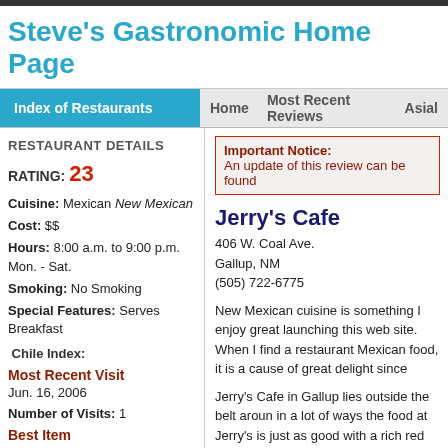Steve's Gastronomic Home Page
Index of Restaurants
Home   Most Recent Reviews   Asial
RESTAURANT DETAILS
RATING: 23
Cuisine: Mexican New Mexican
Cost: $$
Hours: 8:00 a.m. to 9:00 p.m. Mon. - Sat.
Smoking: No Smoking
Special Features: Serves Breakfast
Chile Index:
Most Recent Visit
Jun. 16, 2006
Number of Visits: 1
Best Item
Stuffed Sopaipilla
Special Ratings
Important Notice:
An update of this review can be found
Jerry's Cafe
406 W. Coal Ave.
Gallup, NM
(505) 722-6775
New Mexican cuisine is something I enjoy great launching this web site. When I find a restaurant Mexican food, it is a cause of great delight since
Jerry's Cafe in Gallup lies outside the belt aroun in a lot of ways the food at Jerry's is just as good with a rich red taste and a spice level that I foun
[Figure (photo): Photo thumbnail of Jerry's Cafe]